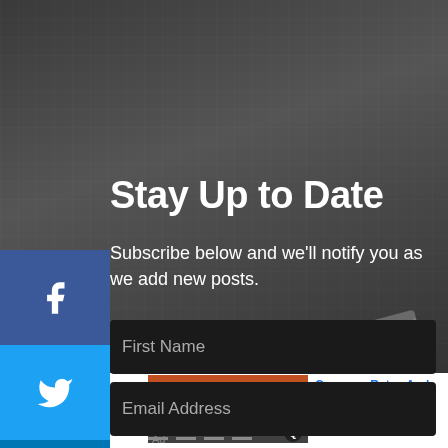Stay Up to Date
Subscribe below and we'll notify you as we add new posts.
[Figure (screenshot): A dark-themed subscription form with two fields: First Name and Email Address, overlaid on a laptop/keyboard background image.]
[Figure (photo): Advertisement image showing a red semi-truck on a road at sunset.]
Compare Rates And Save Money
Ad